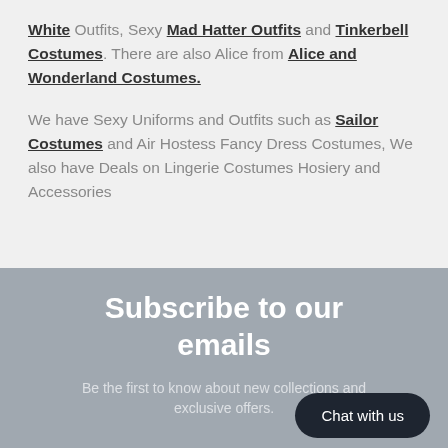White Outfits, Sexy Mad Hatter Outfits and Tinkerbell Costumes. There are also Alice from Alice and Wonderland Costumes.

We have Sexy Uniforms and Outfits such as Sailor Costumes and Air Hostess Fancy Dress Costumes, We also have Deals on Lingerie Costumes Hosiery and Accessories
Subscribe to our emails
Be the first to know about new collections and exclusive offers.